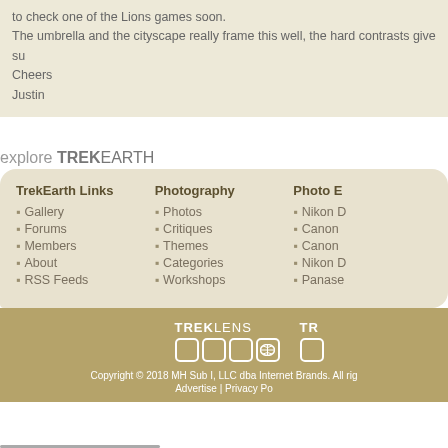to check one of the Lions games soon.
The umbrella and the cityscape really frame this well, the hard contrasts give su...
Cheers
Justin
explore TREKEARTH
TrekEarth Links: Gallery, Forums, Members, About, RSS Feeds
Photography: Photos, Critiques, Themes, Categories, Workshops
Photo E[quipment]: Nikon [D...], Canon [...], Canon [...], Nikon [D...], Panase[...]}
Copyright © 2018 MH Sub I, LLC dba Internet Brands. All rights reserved. Advertise | Privacy Po[licy]